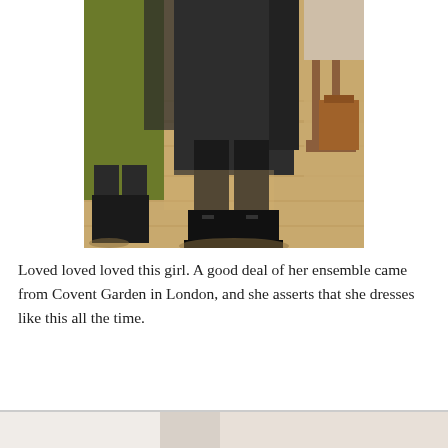[Figure (photo): Close-up photograph of a person's lower body from waist down, wearing a dark olive/black skirt and black tights with black ankle boots with a buckle detail. In the background there is a wood floor, another person in a yellow/green textured coat with black lace-up boots, and a wooden chair with a bag.]
Loved loved loved this girl. A good deal of her ensemble came from Covent Garden in London, and she asserts that she dresses like this all the time.
[Figure (photo): Partial view of another photograph beginning at the bottom of the page, showing a person in a light-colored garment.]